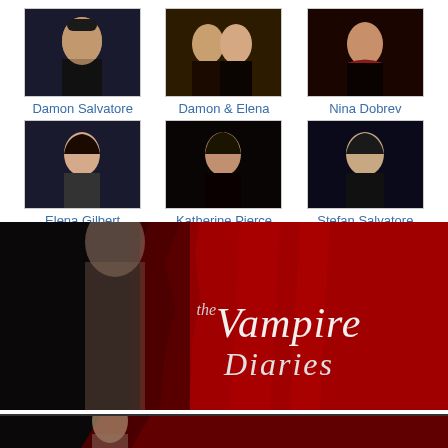[Figure (photo): Thumbnail photo of Damon Salvatore character]
Damon Salvatore
[Figure (photo): Thumbnail photo of Damon and Elena characters together]
Damon & Elena
[Figure (photo): Thumbnail photo of Nina Dobrev actress]
Nina Dobrev
[Figure (photo): Thumbnail photo of Elena Gilbert character]
Elena Gilbert
[Figure (photo): Thumbnail photo of Katherine Pierce character]
Katherine Pierce
[Figure (photo): Thumbnail photo of Stefan Salvatore character]
Stefan Salvatore
>> كلب زياد□
[Figure (illustration): The Vampire Diaries promotional banner with red drapes and silhouette, featuring the show logo text 'the Vampire Diaries']
[Figure (photo): Second banner showing a female character in profile against red and black background]